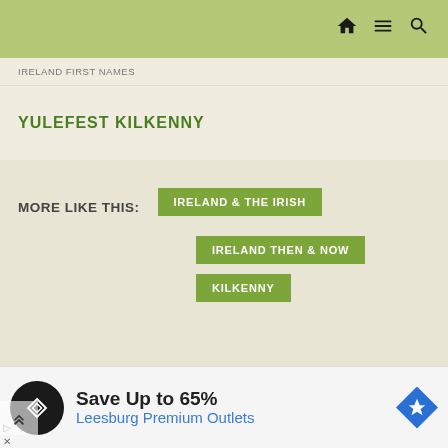IRELAND FIRST NAMES / YULEFEST KILKENNY
YULEFEST KILKENNY
MORE LIKE THIS:
IRELAND & THE IRISH
IRELAND THEN & NOW
KILKENNY
IRISH FIRST NAMES
Traditional Irish Girls' Names: A-C
[Figure (screenshot): Advertisement banner: Save Up to 65% at Leesburg Premium Outlets with circular black logo and blue diamond navigation icon]